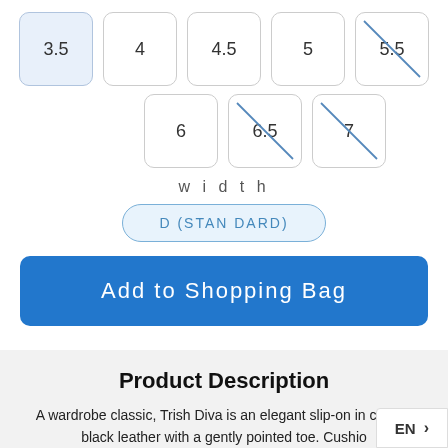3.5 (selected), 4, 4.5, 5, 5.5 (unavailable)
6, 6.5 (unavailable), 7 (unavailable)
width
D (STANDARD)
Add to Shopping Bag
Product Description
A wardrobe classic, Trish Diva is an elegant slip-on in crafted black leather with a gently pointed toe. Cushio technology provides comfort while the durable s
EN >